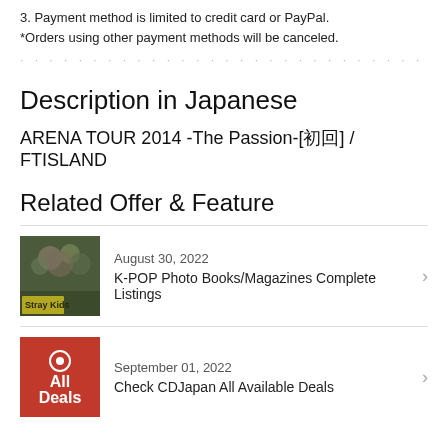3. Payment method is limited to credit card or PayPal.
*Orders using other payment methods will be canceled.
(blurred/redacted line)
Description in Japanese
ARENA TOUR 2014 -The Passion-[初回] / FTISLAND
Related Offer & Feature
[Figure (photo): Thumbnail image of Stray Kids K-POP magazine cover]
August 30, 2022
K-POP Photo Books/Magazines Complete Listings
[Figure (photo): Red 'All Deals' promotional thumbnail image]
September 01, 2022
Check CDJapan All Available Deals